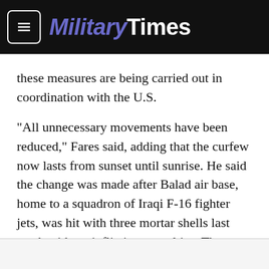MilitaryTimes
these measures are being carried out in coordination with the U.S.
"All unnecessary movements have been reduced," Fares said, adding that the curfew now lasts from sunset until sunrise. He said the change was made after Balad air base, home to a squadron of Iraqi F-16 fighter jets, was hit with three mortar shells last week without inflicting casualties. The curfew had previously been from midnight to sunrise, he said.